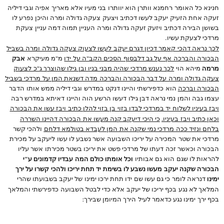חנינא כל האומר רחמנא וותרן הוא יוותרו בני מעיו אלא מאריך אפיה וגבי דיליה זעקה אחת הזעיק יעקב לעשו דכתיב ויצעק צעקה גדולה ומרה והיכן נפרע לו בשושן הבירה דכתיב ויזעק זעקה גדולה ומרה העניין תמוה דמה עניין צעקת מרדכי לצעקת עשיו. לכך נראה דהכי קאמר דכיון דגרם יעקב לעשו לצעוק צעקה גדולה ומרה בשביל הבכורה והברכה אף על גב דלבסוף הסכים הקב"ה על ידו מ"מ מעיקרא אבק מרמה מיהא הוי לכך נענש מרדכי שהיה מבני בניו ובן גילו שהוצרך ג"כ לצעוק צעקה גדולה ומרה על דבר הבכורה והברכה מדה כנגד דשנאת המן על מרדכי בשביל הבכורה וברכה הוא כדפירשתי והיינו דנקט במדרש וגבי דיליה ממש אותו הדבר עצמו גבה והמן נמי נראה דבן גילו דעשו הרשע הוה והיינו דאיתא במדרש רבה ויבז בעיניו לשלוח יד במרדכי לבדו בזוי בן בזוי להלן כתיב ויבז עשו את הבכורה וכאן כתיב ויבז בעיניו. כי היכי דיעקב קנה מעשו את הבכורה דהיינו השררה בלחם ונזיד ככה מרדכי נמי שקנה את המן לעבדא בטולמא דלחם ולהכי קשר מרדכי את שטר המכירה על יריכו השבועה אשר נשבע לו עשו ליעקב על מכירת הבכורה וכאשר זכה דעתו של מרדכי פשט את יריכו בשטר מכירתו אשר עליו להראות לו שגם הוא גם אבותיו וכל אומתו כולם המה עבדיו קדמונים ע"י הבכורה שקנה יעקב מעשו נשבע לו בשימת יד תחת יריכו ולהכי קשרו על ירך ימינו דנראה לומר כי גם עשו שם ידו תחת ירכו ימינו של יעקב בשבועתו שהרי המלאך לא נגע בכף יריכו של יעקב אלא כדי לבטל השבועה כדפירשתי והמלאך בכף ירך ימינו נגע כדאמר לעיל הירך המיומן שבירך: